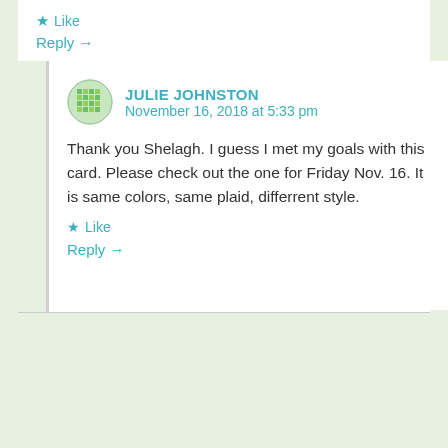★ Like
Reply →
JULIE JOHNSTON
November 16, 2018 at 5:33 pm
Thank you Shelagh. I guess I met my goals with this card. Please check out the one for Friday Nov. 16. It is same colors, same plaid, differrent style.
★ Like
Reply →